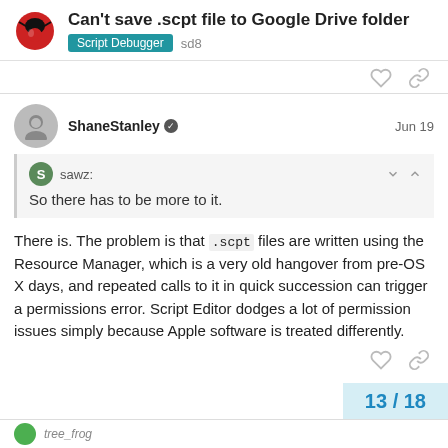Can't save .scpt file to Google Drive folder
Script Debugger   sd8
ShaneStanley   Jun 19
sawz:
So there has to be more to it.
There is. The problem is that .scpt files are written using the Resource Manager, which is a very old hangover from pre-OS X days, and repeated calls to it in quick succession can trigger a permissions error. Script Editor dodges a lot of permission issues simply because Apple software is treated differently.
13 / 18